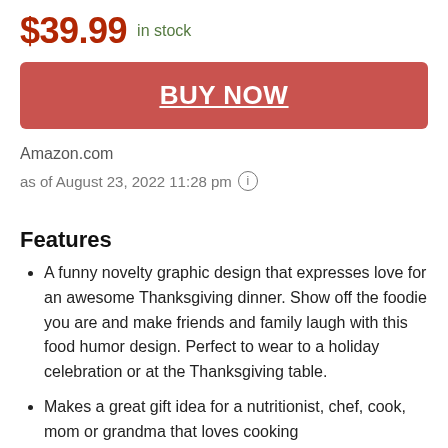$39.99  in stock
BUY NOW
Amazon.com
as of August 23, 2022 11:28 pm ⓘ
Features
A funny novelty graphic design that expresses love for an awesome Thanksgiving dinner. Show off the foodie you are and make friends and family laugh with this food humor design. Perfect to wear to a holiday celebration or at the Thanksgiving table.
Makes a great gift idea for a nutritionist, chef, cook, mom or grandma that loves cooking